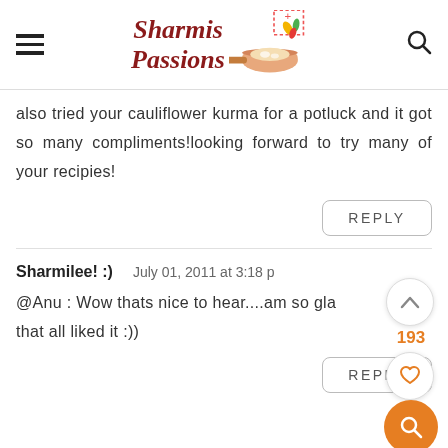Sharmis Passions
also tried your cauliflower kurma for a potluck and it got so many compliments!looking forward to try many of your recipies!
REPLY
Sharmilee! :)   July 01, 2011 at 3:18 p
@Anu : Wow thats nice to hear....am so gla that all liked it :))
REPLY